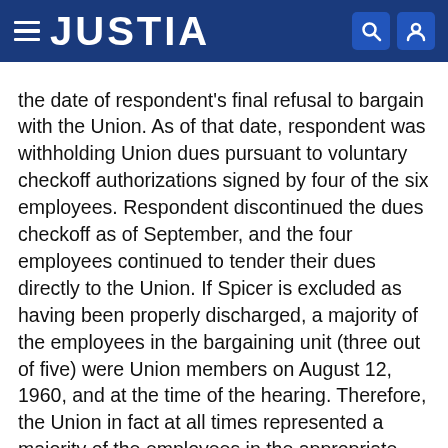JUSTIA
the date of respondent's final refusal to bargain with the Union. As of that date, respondent was withholding Union dues pursuant to voluntary checkoff authorizations signed by four of the six employees. Respondent discontinued the dues checkoff as of September, and the four employees continued to tender their dues directly to the Union. If Spicer is excluded as having been properly discharged, a majority of the employees in the bargaining unit (three out of five) were Union members on August 12, 1960, and at the time of the hearing. Therefore, the Union in fact at all times represented a majority of the employees in the appropriate unit. Respondent nevertheless claims a "good-faith" doubt existed as to the Union's continued majority status for the following reasons:
1. Zitzmann had heard nothing from the Union since the fall of 1959.